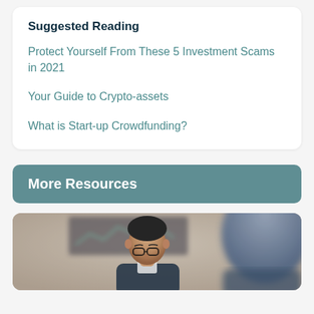Suggested Reading
Protect Yourself From These 5 Investment Scams in 2021
Your Guide to Crypto-assets
What is Start-up Crowdfunding?
More Resources
[Figure (photo): A man with glasses in a professional setting, with a blurred financial chart/monitor in the background and another person's back-of-head visible in the foreground on the right]